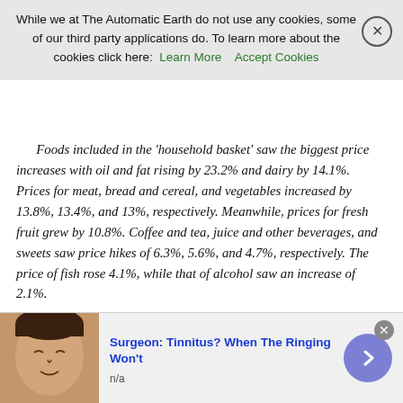While we at The Automatic Earth do not use any cookies, some of our third party applications do. To learn more about the cookies click here: Learn More   Accept Cookies
Foods included in the 'household basket' saw the biggest price increases with oil and fat rising by 23.2% and dairy by 14.1%. Prices for meat, bread and cereal, and vegetables increased by 13.8%, 13.4%, and 13%, respectively. Meanwhile, prices for fresh fruit grew by 10.8%. Coffee and tea, juice and other beverages, and sweets saw price hikes of 6.3%, 5.6%, and 4.7%, respectively. The price of fish rose 4.1%, while that of alcohol saw an increase of 2.1%.
Greece's annual EU-harmonized inflation also saw a sharp rise to 10.5% in May from 9.1% in April, further squeezing disposable incomes. EU-harmonized inflation is an index of components used across the EU to measure inflation in a consistent way.
The reality of food prices is a much more grim. In my last article on the kitchen, Dec '21, I said prices were up 35% from a year ago.
[Figure (other): Advertisement banner: Surgeon: Tinnitus? When The Ringing Won't - with photo of person and navigation arrow button]